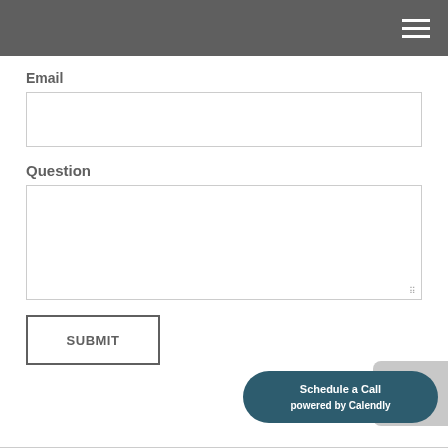Navigation menu (hamburger icon)
Email
[Figure (other): Email input text field, empty, with light gray border]
Question
[Figure (other): Question textarea input, empty, with light gray border and resize handle]
[Figure (other): SUBMIT button with border, white background, gray text]
[Figure (other): Schedule a Call powered by Calendly widget, dark teal rounded pill button in bottom right corner]